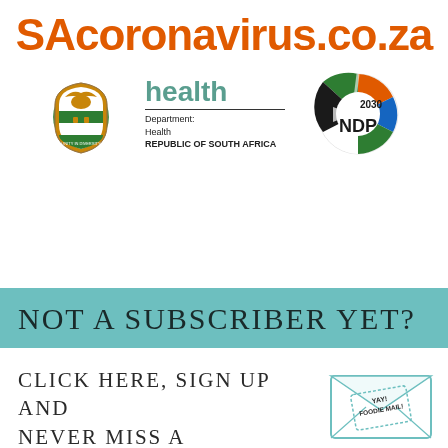SAcoronavirus.co.za
[Figure (logo): South African Department of Health logo with coat of arms and 'health Department: Health REPUBLIC OF SOUTH AFRICA' text, alongside NDP 2030 logo]
NOT A SUBSCRIBER YET?
CLICK HERE, SIGN UP AND NEVER MISS A RECIPE!
[Figure (illustration): Envelope illustration with stamp text 'YAY! FOODIE MAIL!']